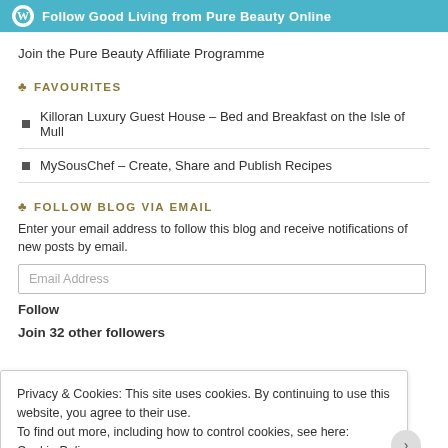[Figure (other): WordPress Follow button banner with teal background: 'Follow Good Living from Pure Beauty Online']
Join the Pure Beauty Affiliate Programme
FAVOURITES
Killoran Luxury Guest House – Bed and Breakfast on the Isle of Mull
MySousChef – Create, Share and Publish Recipes
FOLLOW BLOG VIA EMAIL
Enter your email address to follow this blog and receive notifications of new posts by email.
Follow
Join 32 other followers
Privacy & Cookies: This site uses cookies. By continuing to use this website, you agree to their use.
To find out more, including how to control cookies, see here: Cookie Policy
Close and accept